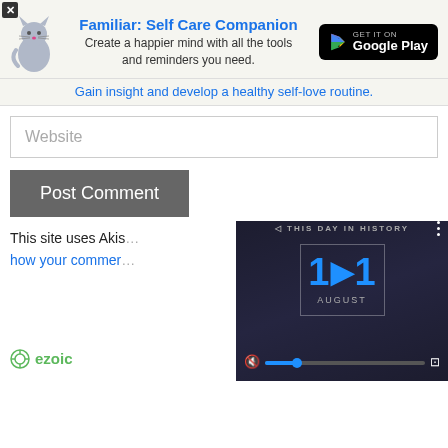[Figure (infographic): App advertisement banner for 'Familiar: Self Care Companion' with cat logo, description text, and Google Play download button]
Gain insight and develop a healthy self-love routine.
Website
Post Comment
This site uses Akis... how your commer...
[Figure (screenshot): Video player overlay showing 'This Day In History' with date August 11, playback controls including mute, progress bar with blue dot, and fullscreen button]
ezoic  report this ad